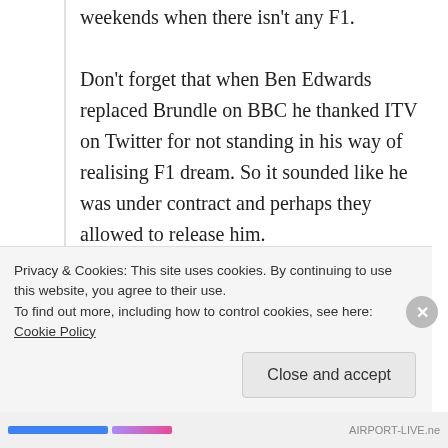weekends when there isn't any F1.
Don't forget that when Ben Edwards replaced Brundle on BBC he thanked ITV on Twitter for not standing in his way of realising F1 dream. So it sounded like he was under contract and perhaps they allowed to release him.
Craig Doyle for me is a contender and I'd love to see him get the role.
↳ Reply
Privacy & Cookies: This site uses cookies. By continuing to use this website, you agree to their use.
To find out more, including how to control cookies, see here: Cookie Policy
Close and accept